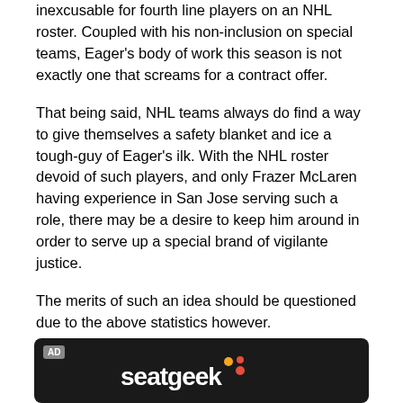inexcusable for fourth line players on an NHL roster. Coupled with his non-inclusion on special teams, Eager's body of work this season is not exactly one that screams for a contract offer.
That being said, NHL teams always do find a way to give themselves a safety blanket and ice a tough-guy of Eager's ilk. With the NHL roster devoid of such players, and only Frazer McLaren having experience in San Jose serving such a role, there may be a desire to keep him around in order to serve up a special brand of vigilante justice.
The merits of such an idea should be questioned due to the above statistics however.
[Figure (other): Advertisement banner with SeatGeek logo on dark background]